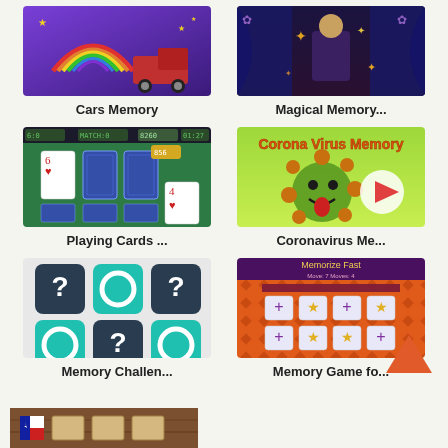[Figure (screenshot): Cars Memory game thumbnail - purple/dark background with rainbow and truck graphics]
Cars Memory
[Figure (screenshot): Magical Memory game thumbnail - dark blue stage curtain background]
Magical Memory...
[Figure (screenshot): Playing Cards memory game thumbnail - green card table background with playing cards shown]
Playing Cards ...
[Figure (screenshot): Corona Virus Memory game thumbnail - green background with virus cartoon and play button]
Coronavirus Me...
[Figure (screenshot): Memory Challenge thumbnail - teal and dark blue question mark and circle tiles in 3x3 grid]
Memory Challen...
[Figure (screenshot): Memory Game for Kids thumbnail - Memorize Fast game with orange diamond pattern background and star/plus card tiles]
Memory Game fo...
[Figure (screenshot): Partial bottom thumbnail - wooden board game with Chile flag and card tiles]